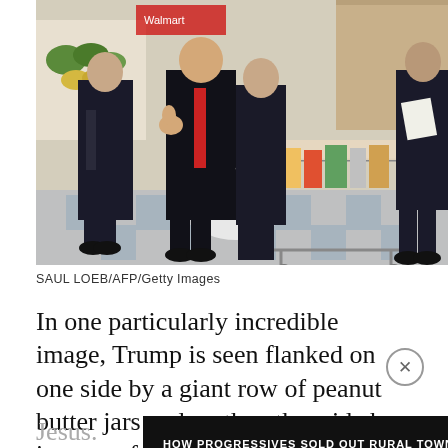[Figure (photo): Several men in dark suits inside a grocery store. One man with a red tie gives thumbs up while pushing a shopping cart full of groceries. Others stand around him. Store shelves and produce visible in background.]
SAUL LOEB/AFP/Getty Images
In one particularly incredible image, Trump is seen flanked on one side by a giant row of peanut butter jars and on the other side by images of Jesus.
[Figure (screenshot): Advertisement banner: 'HOW PROGRESSIVES SOLD OUT RURAL TOWNS TO FOREIGN DRUG LORDS' with NARCOFORNIA branding and WATCH NOW button with play icon.]